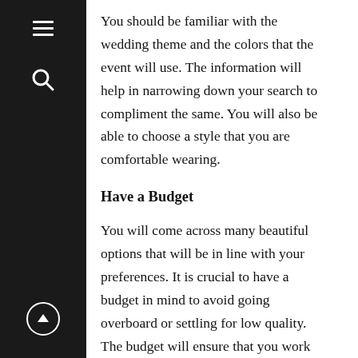You should be familiar with the wedding theme and the colors that the event will use. The information will help in narrowing down your search to compliment the same. You will also be able to choose a style that you are comfortable wearing.
Have a Budget
You will come across many beautiful options that will be in line with your preferences. It is crucial to have a budget in mind to avoid going overboard or settling for low quality. The budget will ensure that you work with something that doesn’t drain you financially.